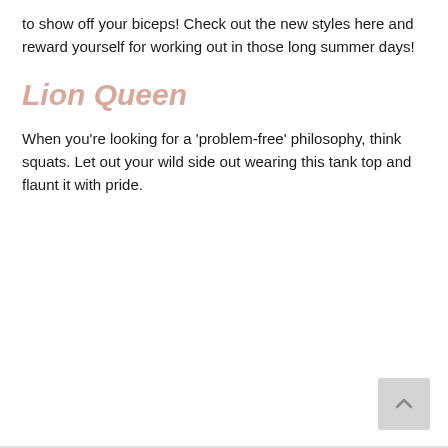to show off your biceps! Check out the new styles here and reward yourself for working out in those long summer days!
Lion Queen
When you're looking for a 'problem-free' philosophy, think squats. Let out your wild side out wearing this tank top and flaunt it with pride.